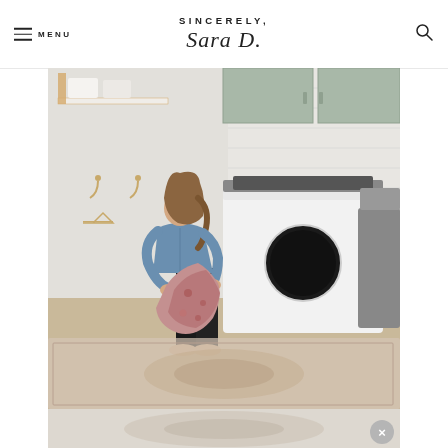MENU | SINCERELY, Sara D.
[Figure (photo): Woman in a laundry room wearing a denim jacket and black pants, loading or unloading a pink floral blanket from a front-load washing machine. The laundry room has mint green cabinetry, white subway tile, gold hooks on the wall, wood shelving with folded towels, and a runner rug on hardwood floors.]
[Figure (photo): Bottom portion of the same laundry room photo showing the rug and floor, with a close button (X) overlay in the bottom right corner.]